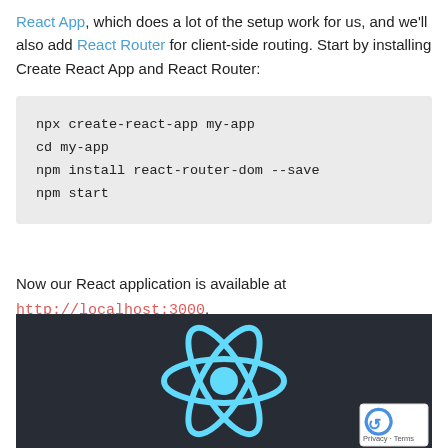React App, which does a lot of the setup work for us, and we'll also add React Router for client-side routing. Start by installing Create React App and React Router:
npx create-react-app my-app
cd my-app
npm install react-router-dom --save
npm start
Now our React application is available at http://localhost:3000.
[Figure (screenshot): React logo (cyan atom icon) on a dark background (#282c34), with a reCAPTCHA badge in the bottom right corner showing the reCAPTCHA logo and 'Privacy - Terms' text.]